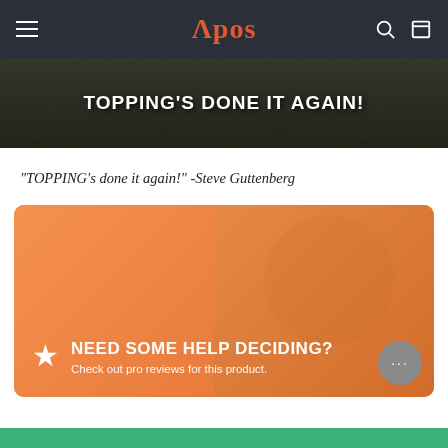Apos
[Figure (photo): Dark-toned photo of audio equipment with bold white text overlay reading TOPPING'S DONE IT AGAIN!]
"TOPPING's done it again!" -Steve Guttenberg
[Figure (infographic): Orange promotional banner with a person wearing headphones in the background, a star icon, heading 'NEED SOME HELP DECIDING?' and subtext 'Check out pro reviews for this product.' with a chat bubble in the bottom right corner.]